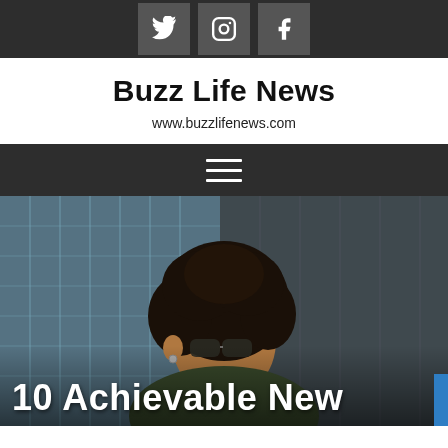Social media icons: Twitter, Instagram, Facebook
Buzz Life News
www.buzzlifenews.com
[Figure (other): Navigation bar with hamburger menu icon]
[Figure (photo): Woman with curly hair and sunglasses looking away, against a building background]
10 Achievable New